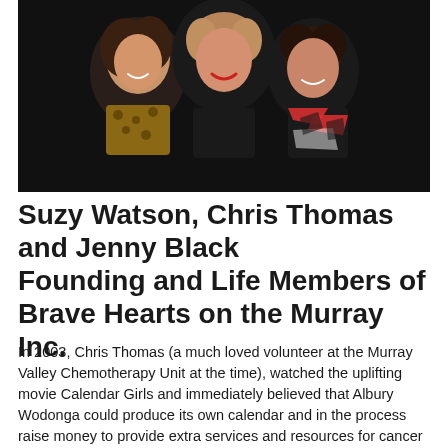[Figure (photo): Three smiling women posing closely together against a dark/black background. Left woman has dark curly hair and wears a leopard print top. Center woman has lighter hair and wears black. Right woman has short dark hair and wears a colorful patterned scarf.]
Suzy Watson, Chris Thomas and Jenny Black Founding and Life Members of Brave Hearts on the Murray Inc.
In 2003, Chris Thomas (a much loved volunteer at the Murray Valley Chemotherapy Unit at the time), watched the uplifting movie Calendar Girls and immediately believed that Albury Wodonga could produce its own calendar and in the process raise money to provide extra services and resources for cancer patients in our local